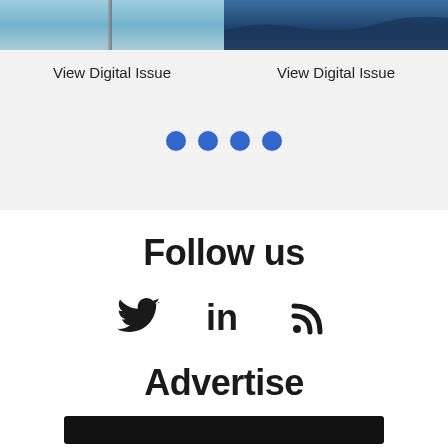[Figure (photo): Top left portion of a digital magazine cover showing sky with pole or structure, partial view]
View Digital Issue
[Figure (photo): Top right portion of a digital magazine cover showing dark blue landscape/mountains]
View Digital Issue
[Figure (other): Four blue navigation dots indicating carousel position]
Follow us
[Figure (other): Social media icons: Twitter bird, LinkedIn 'in', RSS feed symbol]
Advertise
[Figure (other): Dark banner/advertisement bar at bottom]